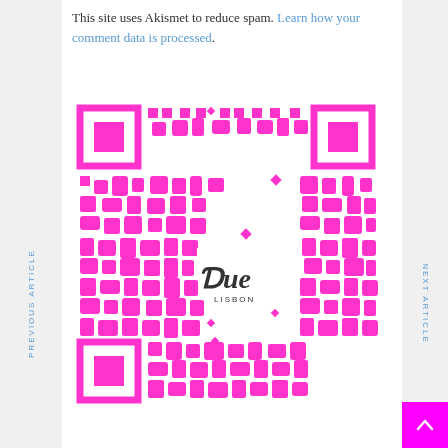This site uses Akismet to reduce spam. Learn how your comment data is processed.
[Figure (other): Pink QR code with a logo in the center that reads 'Due LISBON']
PREVIOUS ARTICLE
NEXT ARTICLE